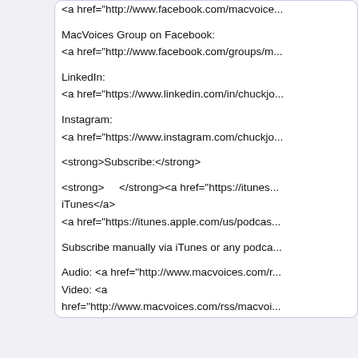<a href="http://www.facebook.com/macvoice...

MacVoices Group on Facebook:
<a href="http://www.facebook.com/groups/m...

LinkedIn:
<a href="https://www.linkedin.com/in/chuckjo...

Instagram:
<a href="https://www.instagram.com/chuckjo...

<strong>Subscribe:</strong>

<strong>     </strong><a href="https://itunes...iTunes</a>
<a href="https://itunes.apple.com/us/podcas...

Subscribe manually via iTunes or any podca...

Audio: <a href="http://www.macvoices.com/r...
Video: <a
href="http://www.macvoices.com/rss/macvoi...
Direct download: MV21017.mp3
Category:general -- posted at: 4:09pm EDT